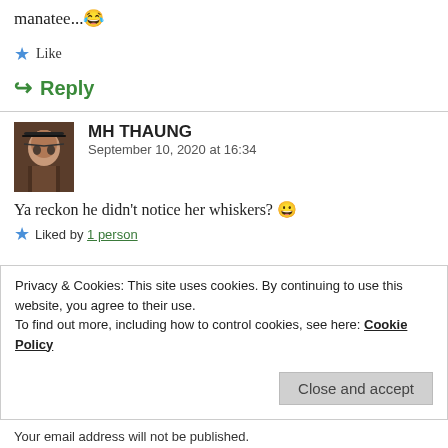manatee...😂
★ Like
↪ Reply
MH THAUNG
September 10, 2020 at 16:34
Ya reckon he didn't notice her whiskers? 😀
★ Liked by 1 person
Privacy & Cookies: This site uses cookies. By continuing to use this website, you agree to their use.
To find out more, including how to control cookies, see here: Cookie Policy
Close and accept
Your email address will not be published.